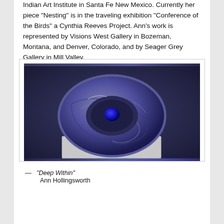Indian Art Institute in Santa Fe New Mexico. Currently her piece “Nesting” is in the traveling exhibition “Conference of the Birds” a Cynthia Reeves Project. Ann’s work is represented by Visions West Gallery in Bozeman, Montana, and Denver, Colorado, and by Seager Grey Gallery in Mill Valley.
[Figure (photo): A glass sculpture with a swirling donut/torus shape in deep blue and grey tones, displayed on a white pedestal. The piece has a spiraling form with a small blue opening at the center.]
— “Deep Within” Ann Hollingsworth